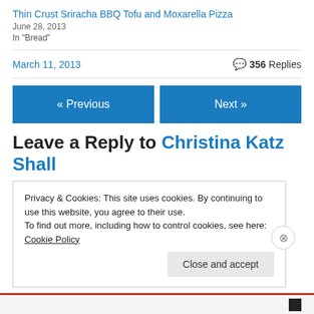Thin Crust Sriracha BBQ Tofu and Moxarella Pizza
June 28, 2013
In "Bread"
March 11, 2013    💬 356 Replies
« Previous
Next »
Leave a Reply to Christina Katz
Privacy & Cookies: This site uses cookies. By continuing to use this website, you agree to their use.
To find out more, including how to control cookies, see here: Cookie Policy
Close and accept